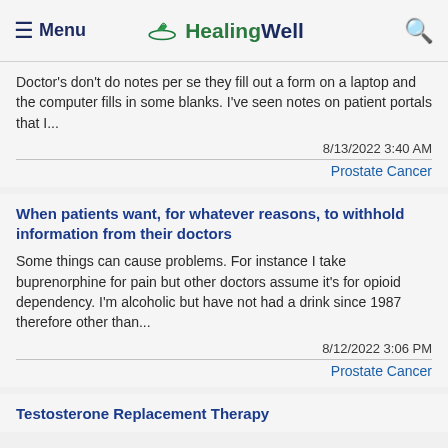≡ Menu  HealingWell  🔍
Doctor's don't do notes per se they fill out a form on a laptop and the computer fills in some blanks. I've seen notes on patient portals that I...
8/13/2022 3:40 AM
Prostate Cancer
When patients want, for whatever reasons, to withhold information from their doctors
Some things can cause problems. For instance I take buprenorphine for pain but other doctors assume it's for opioid dependency. I'm alcoholic but have not had a drink since 1987 therefore other than...
8/12/2022 3:06 PM
Prostate Cancer
Testosterone Replacement Therapy